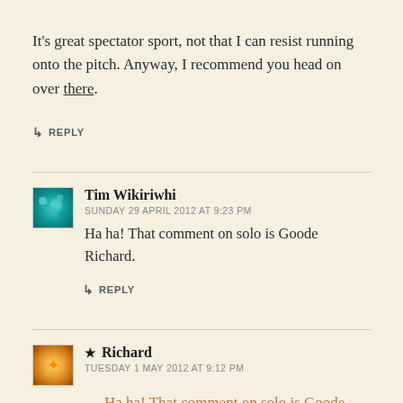It's great spectator sport, not that I can resist running onto the pitch. Anyway, I recommend you head on over there.
↳ REPLY
Tim Wikiriwhi
SUNDAY 29 APRIL 2012 AT 9:23 PM
Ha ha! That comment on solo is Goode Richard.
↳ REPLY
★ Richard
TUESDAY 1 MAY 2012 AT 9:12 PM
Ha ha! That comment on solo is Goode Richard.